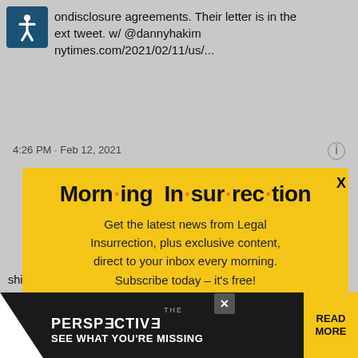[Figure (screenshot): Background of a tweet showing partial text about nondisclosure agreements, mentioning @dannyhakim, nytimes.com link, timestamp 4:26 PM Feb 12, 2021, with an accessibility icon in the top left corner]
Morn·ing In·sur·rec·tion
Get the latest news from Legal Insurrection, plus exclusive content, direct to your inbox every morning. Subscribe today – it's free!
JOIN NOW
ship. And this was one of the biggest, meanest of all: Steve Schmidt has resigned, joining spoke
[Figure (screenshot): Ad banner at the bottom showing 'THE PERSPECTIVE' with reversed letters stylization, text 'SEE WHAT YOU'RE MISSING' and yellow 'READ MORE' button on the right]